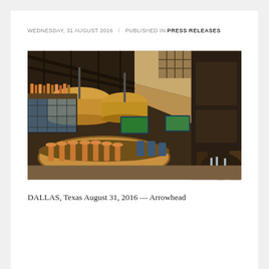WEDNESDAY, 31 AUGUST 2016 / PUBLISHED IN PRESS RELEASES
[Figure (photo): Interior of a restaurant or bar with large pendant drum lamps, a curved bar with bar stools, television screens showing sports, wooden paneling, and dining tables in the foreground.]
DALLAS, Texas August 31, 2016 — Arrowhead